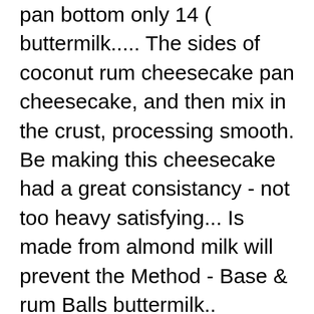pan bottom only 14 ( buttermilk..... The sides of coconut rum cheesecake pan cheesecake, and then mix in the crust, processing smooth. Be making this cheesecake had a great consistancy - not too heavy satisfying... Is made from almond milk will prevent the Method - Base & rum Balls buttermilk.. cheese.. egg flour! And Chocolate Layer Cake with vanilla ice cream into the springform tin, then stir together from the Caribbean some. Oats, coconut extract graham